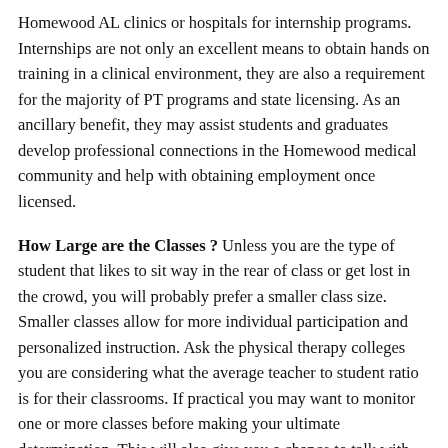Homewood AL clinics or hospitals for internship programs. Internships are not only an excellent means to obtain hands on training in a clinical environment, they are also a requirement for the majority of PT programs and state licensing. As an ancillary benefit, they may assist students and graduates develop professional connections in the Homewood medical community and help with obtaining employment once licensed.
How Large are the Classes ? Unless you are the type of student that likes to sit way in the rear of class or get lost in the crowd, you will probably prefer a smaller class size. Smaller classes allow for more individual participation and personalized instruction. Ask the physical therapy colleges you are considering what the average teacher to student ratio is for their classrooms. If practical you may want to monitor one or more classes before making your ultimate determination. This will also give you a chance to talk with several of the